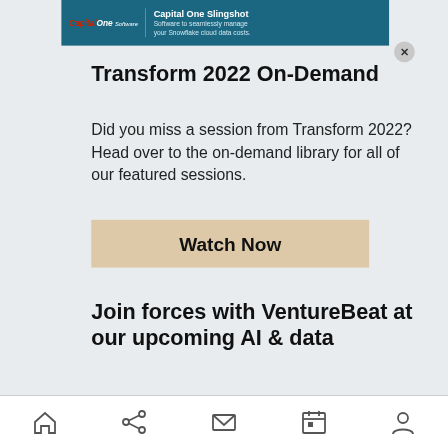[Figure (screenshot): Capital One Slingshot advertisement banner with logo and text: 'Capital One Slingshot — Software to seamlessly manage your Snowflake cloud data costs.']
Transform 2022 On-Demand
Did you miss a session from Transform 2022? Head over to the on-demand library for all of our featured sessions.
[Figure (other): Watch Now button with beige/tan background]
Join forces with VentureBeat at our upcoming AI & data
Home | Share | Mail | Calendar | Profile — navigation bar